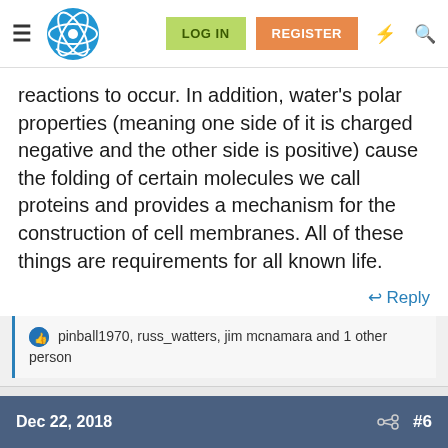LOG IN  REGISTER
reactions to occur. In addition, water's polar properties (meaning one side of it is charged negative and the other side is positive) cause the folding of certain molecules we call proteins and provides a mechanism for the construction of cell membranes. All of these things are requirements for all known life.
↩ Reply
pinball1970, russ_watters, jim mcnamara and 1 other person
Dec 22, 2018  #6